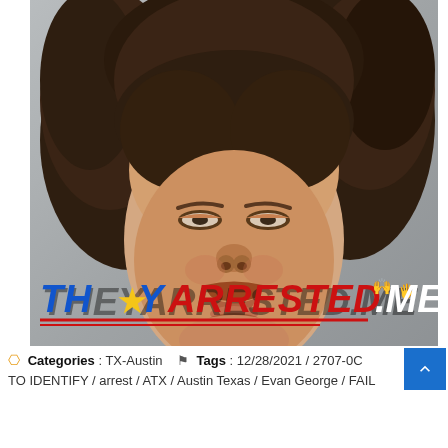[Figure (photo): Police mugshot of a young white male with messy dark brown shoulder-length curly hair, a reddish-brown mustache and sparse beard stubble, wearing a black and white striped jail uniform. Background is gray concrete block wall. The TheyArrested.Me watermark logo appears in the lower portion of the image in bold blue, red, and white italic text.]
Categories : TX-Austin   Tags : 12/28/2021 / 2707-0... TO IDENTIFY / arrest / ATX / Austin Texas / Evan George / FAIL